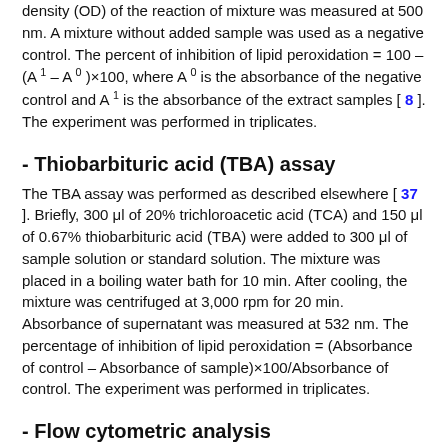density (OD) of the reaction of mixture was measured at 500 nm. A mixture without added sample was used as a negative control. The percent of inhibition of lipid peroxidation = 100 – (A1 – A0)×100, where A0 is the absorbance of the negative control and A1 is the absorbance of the extract samples [ 8 ]. The experiment was performed in triplicates.
- Thiobarbituric acid (TBA) assay
The TBA assay was performed as described elsewhere [ 37 ]. Briefly, 300 μl of 20% trichloroacetic acid (TCA) and 150 μl of 0.67% thiobarbituric acid (TBA) were added to 300 μl of sample solution or standard solution. The mixture was placed in a boiling water bath for 10 min. After cooling, the mixture was centrifuged at 3,000 rpm for 20 min. Absorbance of supernatant was measured at 532 nm. The percentage of inhibition of lipid peroxidation = (Absorbance of control – Absorbance of sample)×100/Absorbance of control. The experiment was performed in triplicates.
- Flow cytometric analysis
Flow cytometric analysis for the cell cycle of HL-60 cells was carried out as previously described [ 46 ]. Changes in the Δ ψm were measured after staining with 3,3'-dihexyloxacarbocyanine